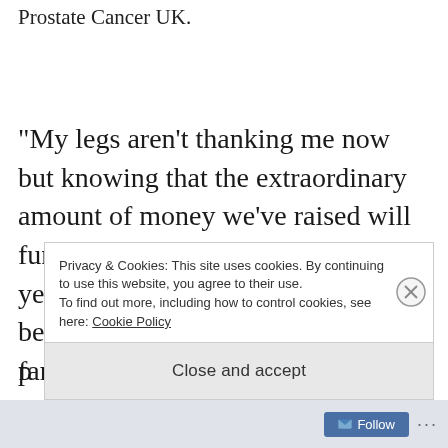Prostate Cancer UK.
“My legs aren’t thanking me now but knowing that the extraordinary amount of money we’ve raised will fund life-saving research so that in years to come, prostate cancer will be a disease that men and their families need not fear, certainly eases the p[ain]
Privacy & Cookies: This site uses cookies. By continuing to use this website, you agree to their use.
To find out more, including how to control cookies, see here: Cookie Policy
Close and accept